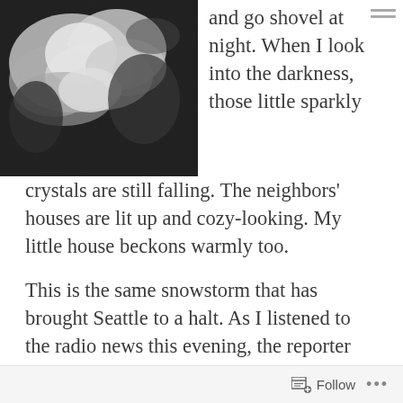[Figure (photo): Black and white photograph of snow or clouds, close-up abstract texture]
and go shovel at night. When I look into the darkness, those little sparkly crystals are still falling. The neighbors' houses are lit up and cozy-looking. My little house beckons warmly too.
This is the same snowstorm that has brought Seattle to a halt. As I listened to the radio news this evening, the reporter had recorded his story while sliding on cross country skis in the city streets. Later I looked at a Seattle paper online to learn how much snow had actually fallen. Four
Follow ...